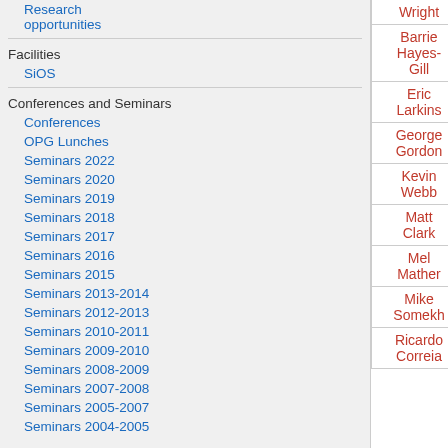Research opportunities
Facilities
SiOS
Conferences and Seminars
Conferences
OPG Lunches
Seminars 2022
Seminars 2020
Seminars 2019
Seminars 2018
Seminars 2017
Seminars 2016
Seminars 2015
Seminars 2013-2014
Seminars 2012-2013
Seminars 2010-2011
Seminars 2009-2010
Seminars 2008-2009
Seminars 2007-2008
Seminars 2005-2007
Seminars 2004-2005
| Name | - | - | ez... |
| --- | --- | --- | --- |
| Wright | - | - | ez |
| Barrie Hayes-Gill | - | - | ee |
| Eric Larkins | - | - | ee |
| George Gordon | - | - | ezz |
| Kevin Webb | - | - | ee |
| Matt Clark | - | - | eez |
| Mel Mather | - | - | ezz |
| Mike Somekh | - | - | ezz |
| Ricardo Correia | - | - | ezz |